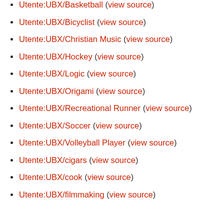Utente:UBX/Basketball (view source)
Utente:UBX/Bicyclist (view source)
Utente:UBX/Christian Music (view source)
Utente:UBX/Hockey (view source)
Utente:UBX/Logic (view source)
Utente:UBX/Origami (view source)
Utente:UBX/Recreational Runner (view source)
Utente:UBX/Soccer (view source)
Utente:UBX/Volleyball Player (view source)
Utente:UBX/cigars (view source)
Utente:UBX/cook (view source)
Utente:UBX/filmmaking (view source)